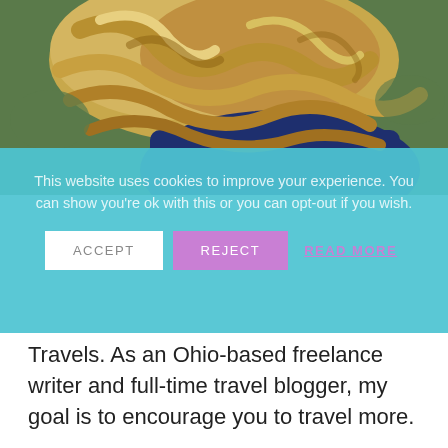[Figure (photo): Overhead/top-down photo of a woman with blonde wavy hair wearing a dark navy blue jacket or top, lying on grass.]
This website uses cookies to improve your experience. You can show you're ok with this or you can opt-out if you wish. ACCEPT  REJECT  READ MORE
Travels. As an Ohio-based freelance writer and full-time travel blogger, my goal is to encourage you to travel more.
To learn more about me and my passion for travel, click here to read my story.